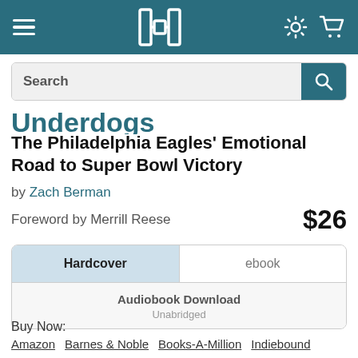HarperCollins navigation bar with hamburger menu, logo, settings and cart icons
Search
Underdogs
The Philadelphia Eagles' Emotional Road to Super Bowl Victory
by Zach Berman
Foreword by Merrill Reese
$26
Hardcover
ebook
Audiobook Download
Unabridged
Buy Now:
Amazon
Barnes & Noble
Books-A-Million
Indiebound